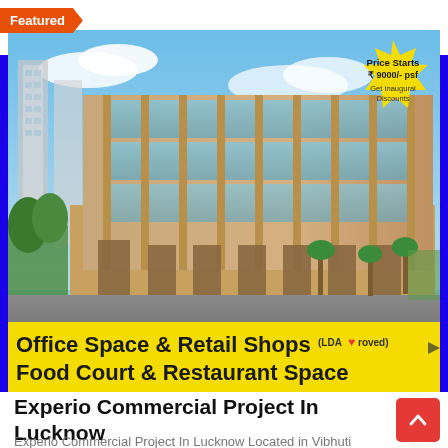[Figure (photo): Architectural rendering of Experio Commercial Project in Lucknow, a modern multi-storey commercial building with glass facade, yellow banner overlay showing 'Office Space & Retail Shops (LDA Approved) Food Court & Restaurant Space', and a yellow starburst badge showing 'Price Starts ₹ 9000/- psf, Get Inaugural Discounts'. Featured badge in orange top-left corner.]
Experio Commercial Project In Lucknow
Experio Commercial Project In Lucknow Located in Vibhuti Khand, a growth nucleus within the posh